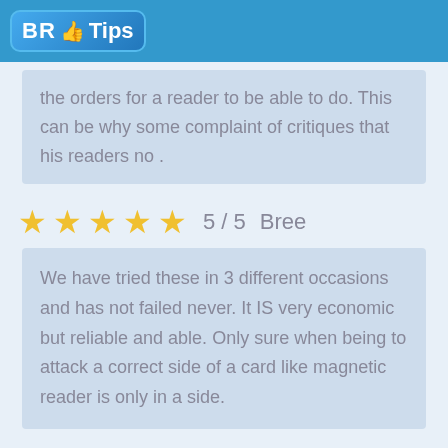BR Tips
the orders for a reader to be able to do. This can be why some complaint of critiques that his readers no .
5 / 5  Bree
We have tried these in 3 different occasions and has not failed never. It IS very economic but reliable and able. Only sure when being to attack a correct side of a card like magnetic reader is only in a side.